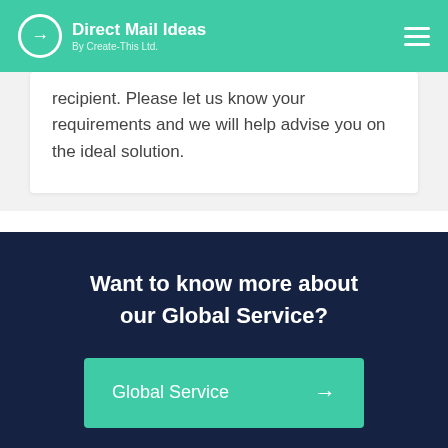Direct Mail Ideas — By Create-This Ltd.
recipient. Please let us know your requirements and we will help advise you on the ideal solution.
Want to know more about our Global Service?
Global Service →
Get In Touch